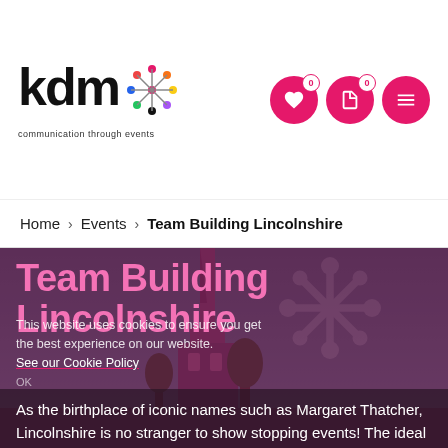[Figure (logo): KDM logo with star/asterisk graphic and tagline 'communication through events']
[Figure (infographic): Navigation icons: heart with badge 0, document with badge 0, hamburger menu — all pink circles]
Home > Events > Team Building Lincolnshire
[Figure (photo): Hero image of a church spire at dusk with purple/magenta overlay showing Team Building Lincolnshire heading]
Team Building Lincolnshire
This website uses cookies to ensure you get the best experience on our website. See our Cookie Policy
As the birthplace of iconic names such as Margaret Thatcher, Lincolnshire is no stranger to show stopping events! The ideal